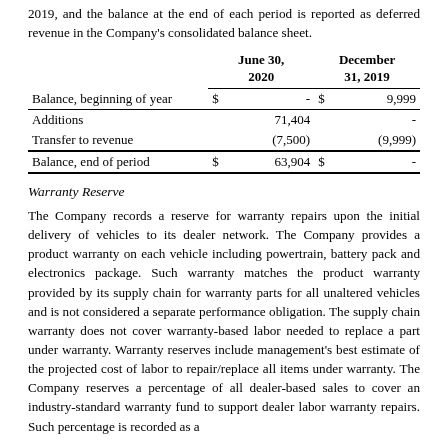2019, and the balance at the end of each period is reported as deferred revenue in the Company's consolidated balance sheet.
|  | June 30, 2020 |  | December 31, 2019 |  |
| --- | --- | --- | --- | --- |
| Balance, beginning of year | $ | - | $ | 9,999 |
| Additions |  | 71,404 |  | - |
| Transfer to revenue |  | (7,500) |  | (9,999) |
| Balance, end of period | $ | 63,904 | $ | - |
Warranty Reserve
The Company records a reserve for warranty repairs upon the initial delivery of vehicles to its dealer network. The Company provides a product warranty on each vehicle including powertrain, battery pack and electronics package. Such warranty matches the product warranty provided by its supply chain for warranty parts for all unaltered vehicles and is not considered a separate performance obligation. The supply chain warranty does not cover warranty-based labor needed to replace a part under warranty. Warranty reserves include management's best estimate of the projected cost of labor to repair/replace all items under warranty. The Company reserves a percentage of all dealer-based sales to cover an industry-standard warranty fund to support dealer labor warranty repairs. Such percentage is recorded as a